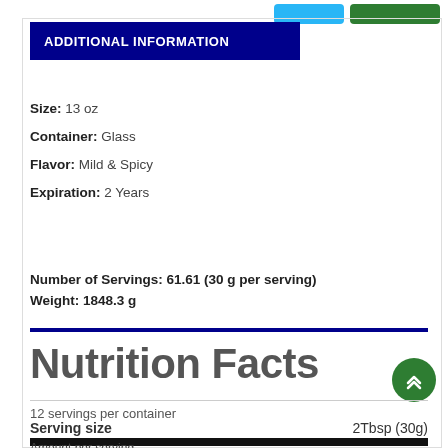ADDITIONAL INFORMATION
Size: 13 oz
Container: Glass
Flavor: Mild & Spicy
Expiration: 2 Years
Number of Servings: 61.61 (30 g per serving)
Weight: 1848.3 g
Nutrition Facts
12 servings per container
Serving size   2Tbsp (30g)
Amount per serving